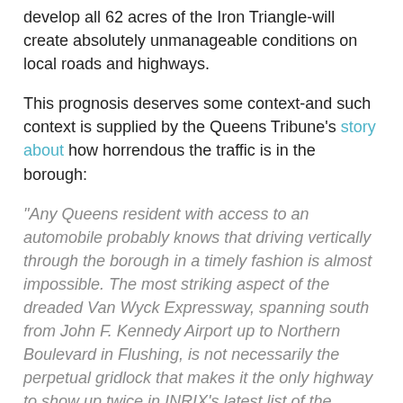develop all 62 acres of the Iron Triangle-will create absolutely unmanageable conditions on local roads and highways.
This prognosis deserves some context-and such context is supplied by the Queens Tribune's story about how horrendous the traffic is in the borough:
"Any Queens resident with access to an automobile probably knows that driving vertically through the borough in a timely fashion is almost impossible. The most striking aspect of the dreaded Van Wyck Expressway, spanning south from John F. Kennedy Airport up to Northern Boulevard in Flushing, is not necessarily the perpetual gridlock that makes it the only highway to show up twice in INRIX's latest list of the country's top 10 most congested highway corridors. Most startling, perhaps, is the lack of bleating car horns. Automobiles crawling down the Van Wyck's 9.3 miles understand that honking a horn is completely pointless. There is simply nowhere to go."
But it is directly to the Van Wyck that the city wants to go to